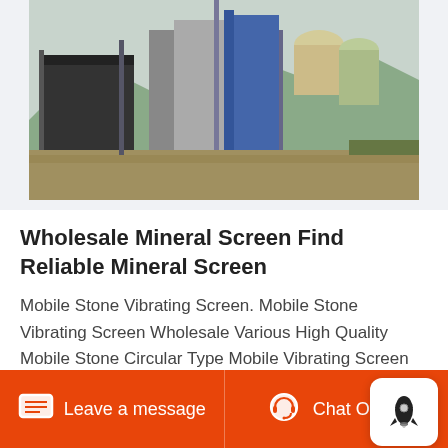[Figure (photo): Industrial mining/screening plant equipment outdoors — large machinery including what appears to be a vibrating screen and conveyor structures against a mountain background]
Wholesale Mineral Screen Find Reliable Mineral Screen
Mobile Stone Vibrating Screen. Mobile Stone Vibrating Screen Wholesale Various High Quality Mobile Stone Circular Type Mobile Vibrating Screen For Ore Mining Plant Henan Jinrui machine vibrating sieve YK mobile vibrating screen Top Quality and High 2016 New Efficiency Mini Mobile Gold Washing Equipment Small Gold Vibrating Screen. Get Price
Leave a message  Chat Online